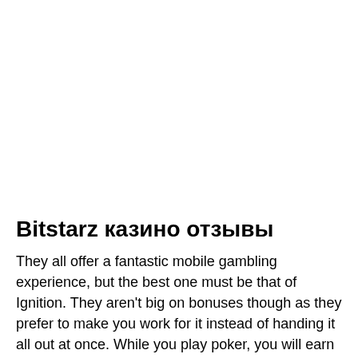Bitstarz казино отзывы
They all offer a fantastic mobile gambling experience, but the best one must be that of Ignition. They aren't big on bonuses though as they prefer to make you work for it instead of handing it all out at once. While you play poker, you will earn poker points which can then be exchanged for cash bonuses,